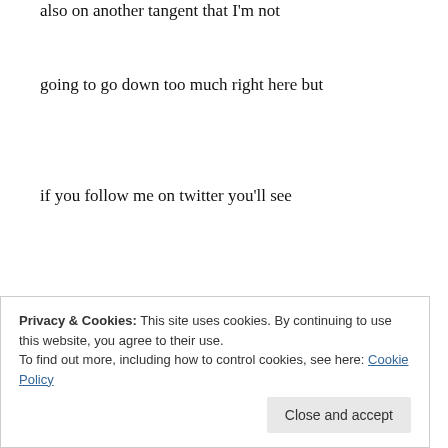also on another tangent that I'm not
going to go down too much right here but
if you follow me on twitter you'll see
me writing about this
um
we're going to begin to see this orb
this golden orb
Privacy & Cookies: This site uses cookies. By continuing to use this website, you agree to their use.
To find out more, including how to control cookies, see here: Cookie Policy
one of the significant meanings of the